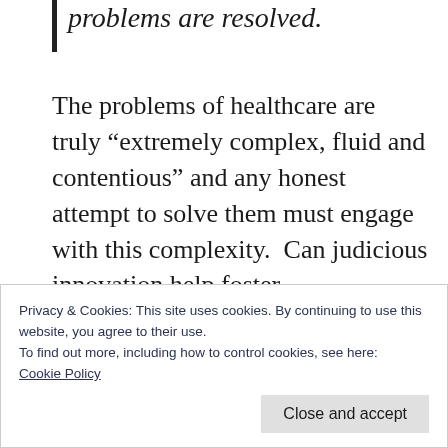problems are resolved.
The problems of healthcare are truly “extremely complex, fluid and contentious” and any honest attempt to solve them must engage with this complexity.  Can judicious innovation help foster psychological safety within a team, and thereby not only create happiness among health workers but also help them achieve the
Privacy & Cookies: This site uses cookies. By continuing to use this website, you agree to their use.
To find out more, including how to control cookies, see here:
Cookie Policy
Close and accept